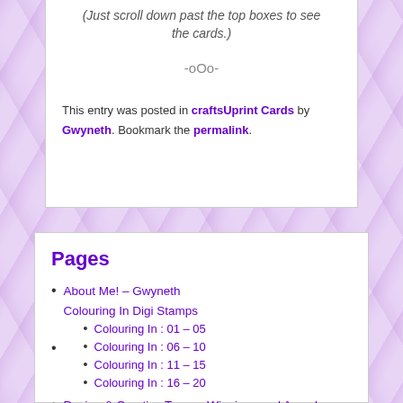(Just scroll down past the top boxes to see the cards.)
-oOo-
This entry was posted in craftsUprint Cards by Gwyneth. Bookmark the permalink.
Pages
About Me! – Gwyneth
Colouring In Digi Stamps
Colouring In : 01 – 05
Colouring In : 06 – 10
Colouring In : 11 – 15
Colouring In : 16 – 20
Design & Creative Teams, Winnings and Awards
Making Paper Flowers